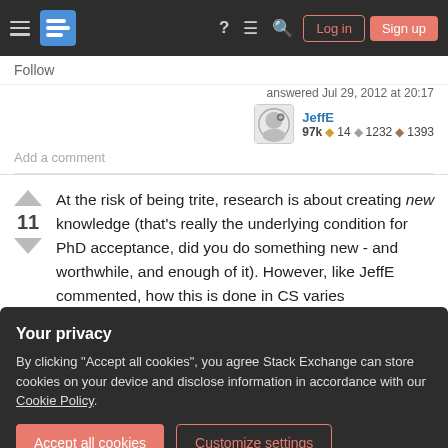Stack Exchange navigation bar with hamburger menu, logo, help, chat, search, Log in, Sign up
Follow
answered Jul 29, 2012 at 20:17
JeffE 97k 🎓14 🎓1232 🎓1393
Add a comment
At the risk of being trite, research is about creating new knowledge (that's really the underlying condition for PhD acceptance, did you do something new - and worthwhile, and enough of it). However, like JeffE commented, how this is done in CS varies
Your privacy
By clicking "Accept all cookies", you agree Stack Exchange can store cookies on your device and disclose information in accordance with our Cookie Policy.
Accept all cookies   Customize settings
some more, write it down, realise it's wrong, go back